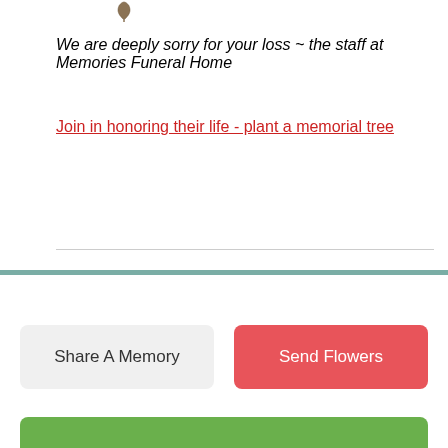We are deeply sorry for your loss – the staff at Memories Funeral Home
Join in honoring their life - plant a memorial tree
Share A Memory
Send Flowers
Plant A Tree